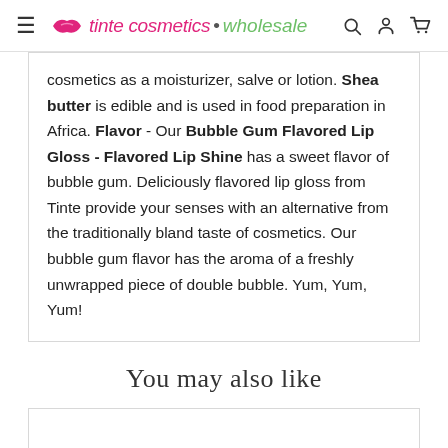tinte cosmetics • wholesale
cosmetics as a moisturizer, salve or lotion. Shea butter is edible and is used in food preparation in Africa. Flavor - Our Bubble Gum Flavored Lip Gloss - Flavored Lip Shine has a sweet flavor of bubble gum. Deliciously flavored lip gloss from Tinte provide your senses with an alternative from the traditionally bland taste of cosmetics. Our bubble gum flavor has the aroma of a freshly unwrapped piece of double bubble. Yum, Yum, Yum!
You may also like
[Figure (other): Empty product card placeholder]